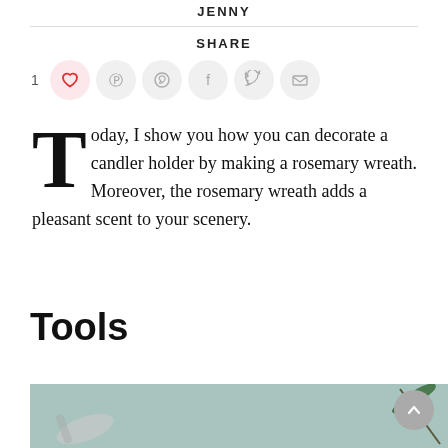JENNY
SHARE
[Figure (other): Social sharing icons row: like count 1, heart (active/red), pinterest, whatsapp, facebook, twitter, email — all in circle buttons]
Today, I show you how you can decorate a candler holder by making a rosemary wreath. Moreover, the rosemary wreath adds a pleasant scent to your scenery.
Tools
[Figure (photo): Partial photo showing craft tools and rosemary sprig on a teal/mint background]